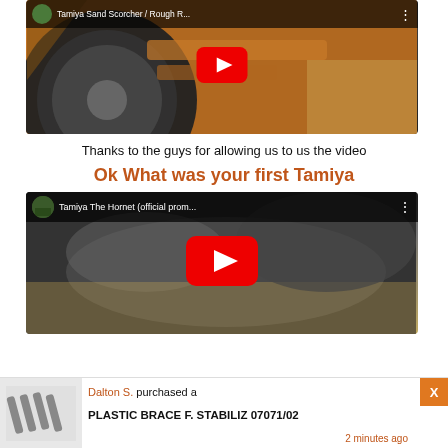[Figure (screenshot): YouTube video thumbnail for Tamiya Sand Scorcher / Rough R... showing a large off-road RC car wheel and chassis in orange/brown tones with a red YouTube play button overlay]
Thanks to the guys for allowing us to us the video
Ok What was your first Tamiya
[Figure (screenshot): YouTube video thumbnail for Tamiya The Hornet (official prom... showing a dark moody landscape scene with a red YouTube play button overlay and channel avatar]
[Figure (screenshot): Notification bar: Dalton S. purchased a PLASTIC BRACE F. STABILIZ 07071/02 - 2 minutes ago, with product image of metal rods/pins on the left and orange X close button on right]